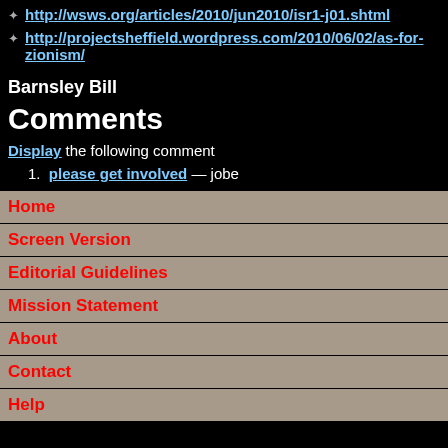http://wsws.org/articles/2010/jun2010/isr1-j01.shtml
http://projectsheffield.wordpress.com/2010/06/02/as-for-zionism/
Barnsley Bill
Comments
Display the following comment
please get involved — jobe
| Home |
| Screen Version |
| Editorial Guidelines |
| Mission Statement |
| About |
| Contact |
| Help |